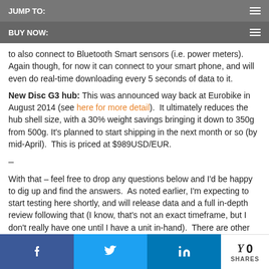JUMP TO:
BUY NOW:
to also connect to Bluetooth Smart sensors (i.e. power meters). Again though, for now it can connect to your smart phone, and will even do real-time downloading every 5 seconds of data to it.
New Disc G3 hub: This was announced way back at Eurobike in August 2014 (see here for more detail). It ultimately reduces the hub shell size, with a 30% weight savings bringing it down to 350g from 500g. It's planned to start shipping in the next month or so (by mid-April). This is priced at $989USD/EUR.
–
With that – feel free to drop any questions below and I'd be happy to dig up and find the answers. As noted earlier, I'm expecting to start testing here shortly, and will release data and a full in-depth review following that (I know, that's not an exact timeframe, but I don't really have one until I have a unit in-hand). There are other power meter reviews due up before that, but you'll see those shortly (Power2Max